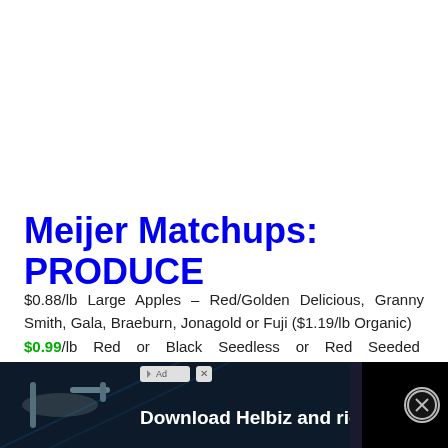Meijer Matchups: PRODUCE
$0.88/lb Large Apples – Red/Golden Delicious, Granny Smith, Gala, Braeburn, Jonagold or Fuji ($1.19/lb Organic)
$0.99/lb Red or Black Seedless or Red Seeded Grapes ($1.69/lb Organic)
$0.99/lb Bartlett, Anjou, Red, Bosc, Comice or Seckel Pears
[Figure (photo): Advertisement overlay: 'Download Helbiz and ride' showing a scooter/bike handlebar in dark background with ad badge and close button]